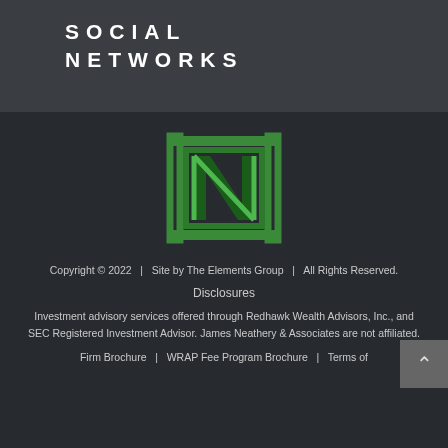SOCIAL NETWORKS
[Figure (logo): Neathery & Associates logo — stylized N letter inside overlapping square brackets, green gradient on dark background]
Copyright © 2022   |   Site by The Elements Group   |   All Rights Reserved.
Disclosures
Investment advisory services offered through Redhawk Wealth Advisors, Inc., and SEC Registered Investment Advisor. James Neathery & Associates are not affiliated.
Firm Brochure   |   WRAP Fee Program Brochure   |   Terms of